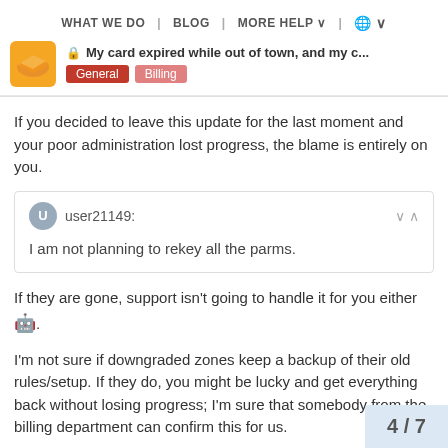WHAT WE DO | BLOG | MORE HELP | (globe)
My card expired while out of town, and my c...
General Billing
If you decided to leave this update for the last moment and your poor administration lost progress, the blame is entirely on you.
user21149: I am not planning to rekey all the parms.
If they are gone, support isn't going to handle it for you either 🤖.
I'm not sure if downgraded zones keep a backup of their old rules/setup. If they do, you might be lucky and get everything back without losing progress; I'm sure that somebody from the billing department can confirm this for us.
4 / 7